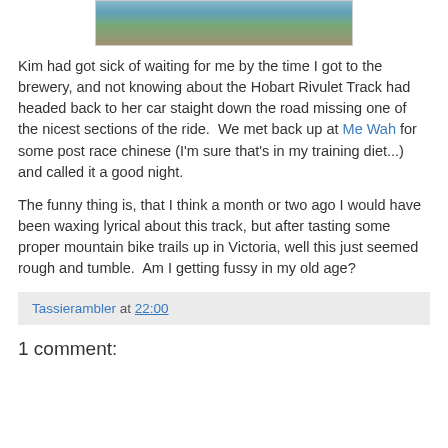[Figure (photo): Top of page photo showing a stream or river with rocks and water]
Kim had got sick of waiting for me by the time I got to the brewery, and not knowing about the Hobart Rivulet Track had headed back to her car staight down the road missing one of the nicest sections of the ride.  We met back up at Me Wah for some post race chinese (I'm sure that's in my training diet...)  and called it a good night.
The funny thing is, that I think a month or two ago I would have been waxing lyrical about this track, but after tasting some proper mountain bike trails up in Victoria, well this just seemed rough and tumble.  Am I getting fussy in my old age?
Tassierambler at 22:00
1 comment: